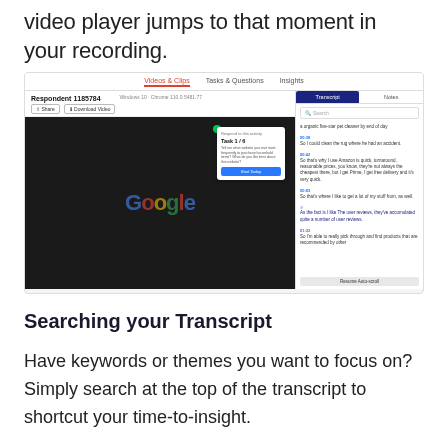video player jumps to that moment in your recording.
[Figure (screenshot): Screenshot of a user research platform showing a video player interface with a respondent recording. The interface has tabs: Videos & Clips, Tasks & Questions, Insights. Left panel shows a video of a respondent with Google homepage visible and a task popup overlay (Task 1/6). Right panel shows a Transcript tab with timestamped transcript entries and a Notes tab.]
Searching your Transcript
Have keywords or themes you want to focus on? Simply search at the top of the transcript to shortcut your time-to-insight.